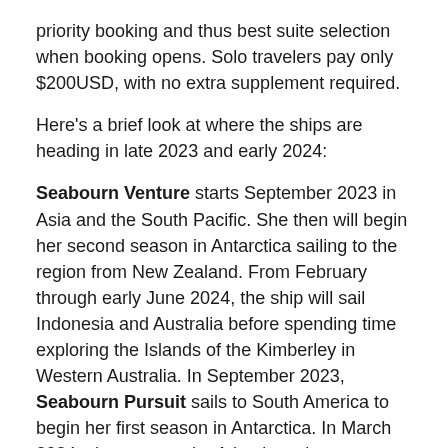priority booking and thus best suite selection when booking opens. Solo travelers pay only $200USD, with no extra supplement required.
Here's a brief look at where the ships are heading in late 2023 and early 2024:
Seabourn Venture starts September 2023 in Asia and the South Pacific. She then will begin her second season in Antarctica sailing to the region from New Zealand. From February through early June 2024, the ship will sail Indonesia and Australia before spending time exploring the Islands of the Kimberley in Western Australia. In September 2023, Seabourn Pursuit sails to South America to begin her first season in Antarctica. In March 2024, she crosses the Atlantic on her way to Europe before beginning her expeditions to Svalbard.